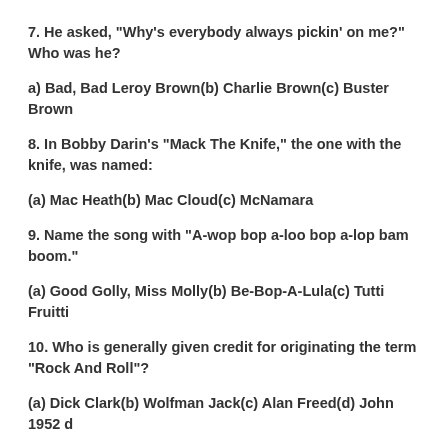7. He asked, "Why's everybody always pickin' on me?" Who was he?
a) Bad, Bad Leroy Brown(b) Charlie Brown(c) Buster Brown
8. In Bobby Darin's "Mack The Knife," the one with the knife, was named:
(a) Mac Heath(b) Mac Cloud(c) McNamara
9. Name the song with "A-wop bop a-loo bop a-lop bam boom."
(a) Good Golly, Miss Molly(b) Be-Bop-A-Lula(c) Tutti Fruitti
10. Who is generally given credit for originating the term "Rock And Roll"?
(a) Dick Clark(b) Wolfman Jack(c) Alan Freed(d) John 1952 d